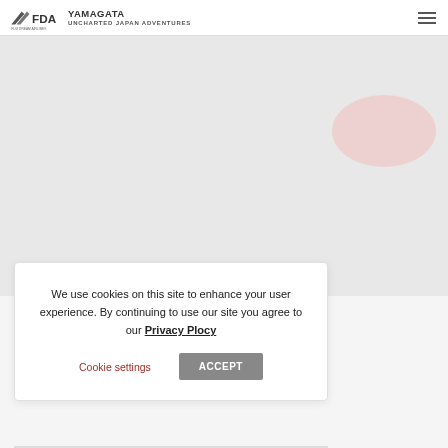FDA YAMAGATA UNCHARTED JAPAN ADVENTURES
[Figure (screenshot): Mostly blank/grey main content area with a pink/rose decorative rounded shape in the upper right]
We use cookies on this site to enhance your user experience. By continuing to use our site you agree to our Privacy Plocy
Cookie settings   ACCEPT